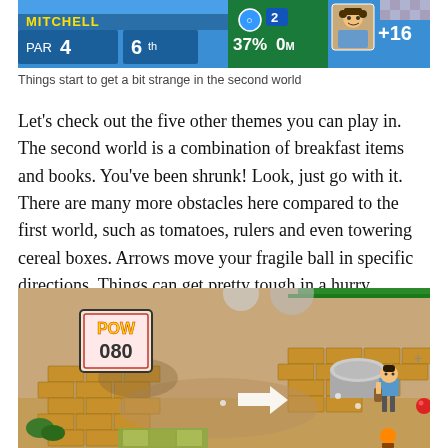[Figure (screenshot): Screenshot of a golf-style mobile game HUD showing PAR 4, 6th, 37%, 0M stats and a character portrait with +16 score on a blue background]
Things start to get a bit strange in the second world
Let’s check out the five other themes you can play in. The second world is a combination of breakfast items and books. You’ve been shrunk! Look, just go with it. There are many more obstacles here compared to the first world, such as tomatoes, rulers and even towering cereal boxes. Arrows move your fragile ball in specific directions. Things can get pretty tough in a hurry…
[Figure (screenshot): Screenshot of an isometric mobile game level showing a character next to a golf ball on a sandy path with brick walls, a POW 080 sign, a white arrow, and various obstacles]